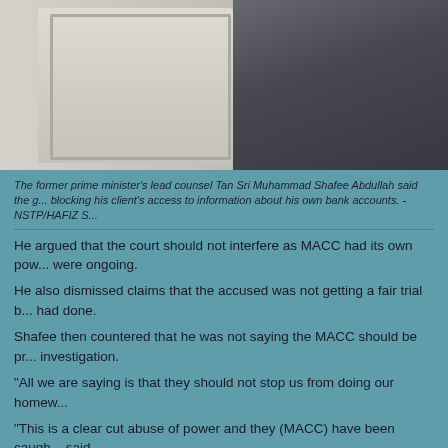[Figure (photo): Photo of a person in a dark suit standing near a decorative frame/mirror, partially cropped]
The former prime minister's lead counsel Tan Sri Muhammad Shafee Abdullah said the g... blocking his client's access to information about his own bank accounts. - NSTP/HAFIZ S...
He argued that the court should not interfere as MACC had its own pow... were ongoing.
He also dismissed claims that the accused was not getting a fair trial b... had done.
Shafee then countered that he was not saying the MACC should be pr... investigation.
"All we are saying is that they should not stop us from doing our homew...
"This is a clear cut abuse of power and they (MACC) have been caugh... said.
Judge Mohd Nazlan Mohd Ghazali will rule on the issue after lunch.
KTemoc at 9:43 am